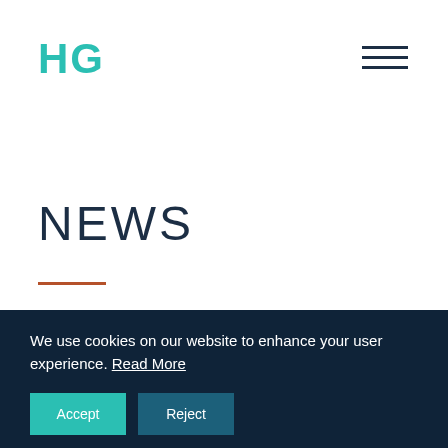HG
NEWS
We use cookies on our website to enhance your user experience. Read More
Accept
Reject